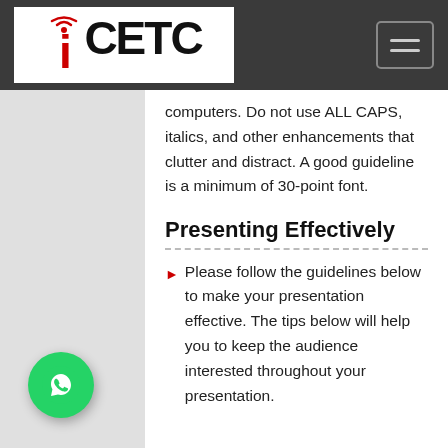[Figure (logo): iCETC logo with WiFi icon above the letter i, followed by CETC in bold black text]
computers. Do not use ALL CAPS, italics, and other enhancements that clutter and distract. A good guideline is a minimum of 30-point font.
Presenting Effectively
Please follow the guidelines below to make your presentation effective. The tips below will help you to keep the audience interested throughout your presentation.